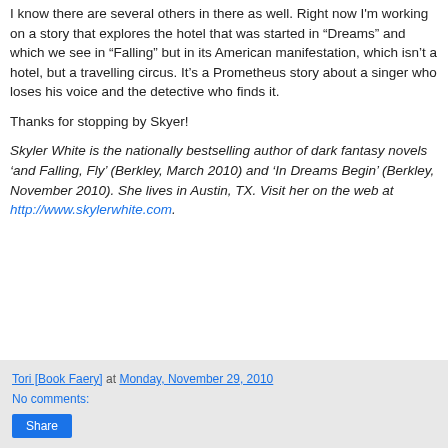I know there are several others in there as well. Right now I'm working on a story that explores the hotel that was started in “Dreams” and which we see in “Falling” but in its American manifestation, which isn’t a hotel, but a travelling circus. It’s a Prometheus story about a singer who loses his voice and the detective who finds it.
Thanks for stopping by Skyer!
Skyler White is the nationally bestselling author of dark fantasy novels ‘and Falling, Fly’ (Berkley, March 2010) and ‘In Dreams Begin’ (Berkley, November 2010). She lives in Austin, TX. Visit her on the web at http://www.skylerwhite.com.
Tori [Book Faery] at Monday, November 29, 2010
No comments:
Share